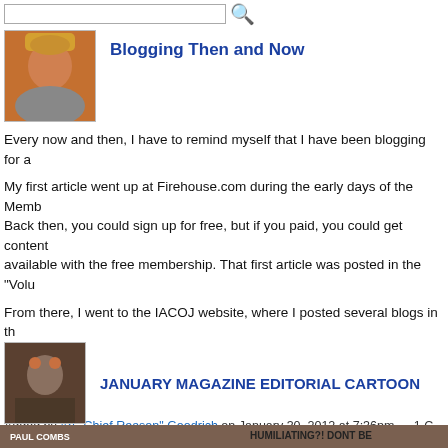[Figure (screenshot): Search bar with text input and red magnifying glass icon]
Blogging Then and Now
Every now and then, I have to remind myself that I have been blogging for a...
My first article went up at Firehouse.com during the early days of the Memb... Back then, you could sign up for free, but if you paid, you could get content... available with the free membership. That first article was posted in the "Volu...
From there, I went to the IACOJ website, where I posted several blogs in th... section.
The Board…
Continue
Added by Art "Chief Reason" Goodrich on January 30, 2012 at 7:36pm — 1 C...
JANUARY MAGAZINE EDITORIAL CARTOON
[Figure (illustration): Editorial cartoon by Paul Combs showing a dalmatian dog costume with text 'Humiliating?! Don't be... This is SERIOUS HA... ...I MEAN TR...']